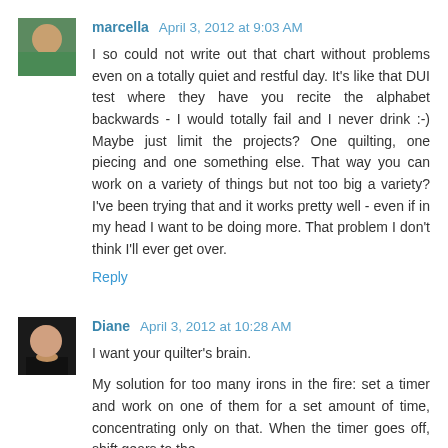[Figure (photo): Avatar photo of Marcella, a woman in a green top with dark hair]
marcella April 3, 2012 at 9:03 AM
I so could not write out that chart without problems even on a totally quiet and restful day. It's like that DUI test where they have you recite the alphabet backwards - I would totally fail and I never drink :-) Maybe just limit the projects? One quilting, one piecing and one something else. That way you can work on a variety of things but not too big a variety? I've been trying that and it works pretty well - even if in my head I want to be doing more. That problem I don't think I'll ever get over.
Reply
[Figure (photo): Avatar photo of Diane, a woman in a black top]
Diane April 3, 2012 at 10:28 AM
I want your quilter's brain.
My solution for too many irons in the fire: set a timer and work on one of them for a set amount of time, concentrating only on that. When the timer goes off, shift gears to the